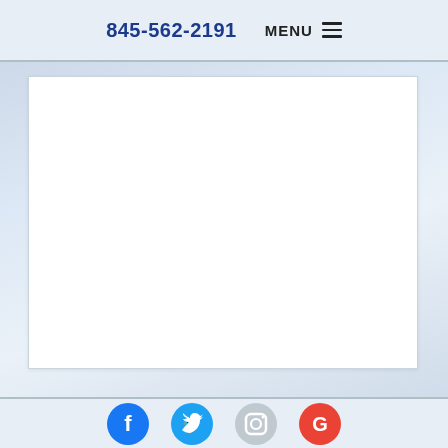845-562-2191   MENU ≡
[Figure (screenshot): White content area box on a light blue cloudy background]
Social media icons: Facebook, Twitter, Instagram, Google